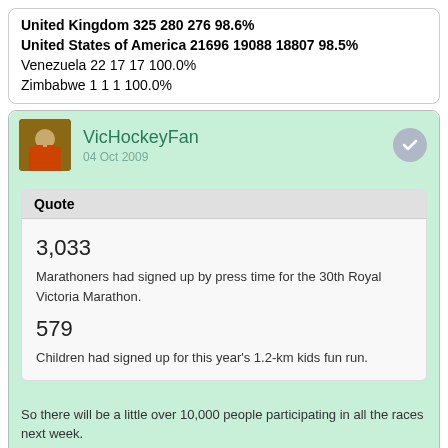United Kingdom 325 280 276 98.6%
United States of America 21696 19088 18807 98.5%
Venezuela 22 17 17 100.0%
Zimbabwe 1 1 1 100.0%
VicHockeyFan
04 Oct 2009
Quote
3,033
Marathoners had signed up by press time for the 30th Royal Victoria Marathon.
579
Children had signed up for this year's 1.2-km kids fun run.
So there will be a little over 10,000 people participating in all the races next week.